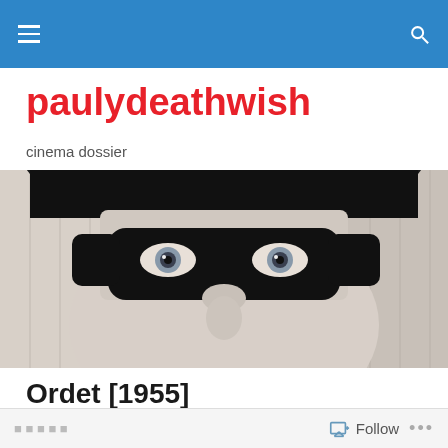paulydeathwish — cinema dossier (navigation bar)
paulydeathwish
cinema dossier
[Figure (photo): Black and white close-up photograph of a person wearing a black domino mask and a dark hat, with pale eyes visible above the mask.]
Ordet [1955]
I'm so scared of life.
Follow ...